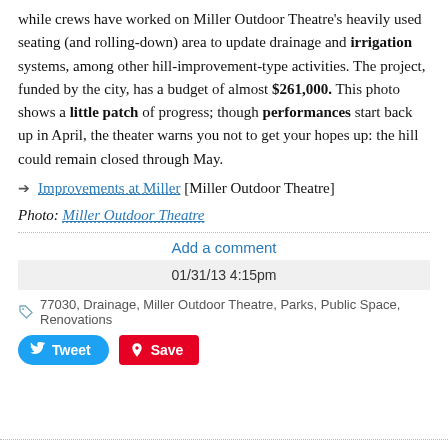while crews have worked on Miller Outdoor Theatre's heavily used seating (and rolling-down) area to update drainage and irrigation systems, among other hill-improvement-type activities. The project, funded by the city, has a budget of almost $261,000. This photo shows a little patch of progress; though performances start back up in April, the theater warns you not to get your hopes up: the hill could remain closed through May.
Improvements at Miller [Miller Outdoor Theatre]
Photo: Miller Outdoor Theatre
Add a comment
01/31/13 4:15pm
77030, Drainage, Miller Outdoor Theatre, Parks, Public Space, Renovations